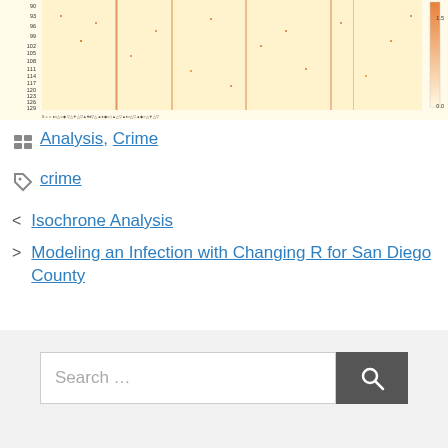[Figure (other): Heatmap visualization with warm yellow-orange-red tones on a light background, showing row numbers on the y-axis (from about 90 to 129) and various labels on the x-axis, with a color scale bar on the right showing values from 0.0 to approximately 1.5]
Analysis, Crime
crime
< Isochrone Analysis
> Modeling an Infection with Changing R for San Diego County
Search ...